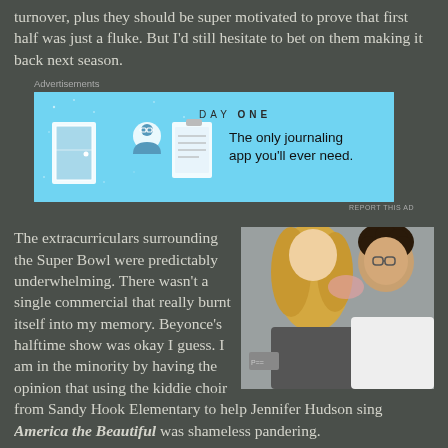turnover, plus they should be super motivated to prove that first half was just a fluke. But I'd still hesitate to bet on them making it back next season.
[Figure (screenshot): Advertisement for Day One journaling app on a light blue background with icons of a door, character, and notepad, and text 'The only journaling app you'll ever need.']
The extracurriculars surrounding the Super Bowl were predictably underwhelming. There wasn't a single commercial that really burnt itself into my memory. Beyonce's halftime show was okay I guess. I am in the minority by having the opinion that using the kiddie choir from Sandy Hook Elementary to help Jennifer Hudson sing America the Beautiful was shameless pandering.
[Figure (photo): Photo of a blonde woman and a curly-haired young man kissing]